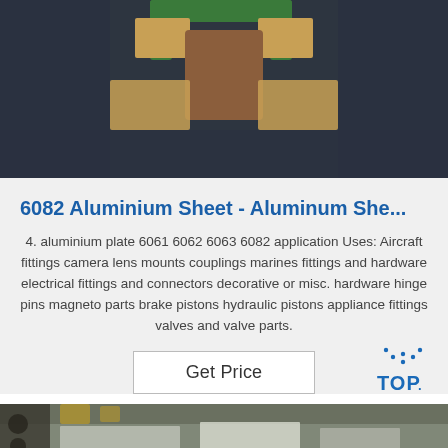[Figure (photo): Top-down photo of aluminium/metal components with green and brown packaging materials on dark background]
6082 Aluminium Sheet - Aluminum She...
4. aluminium plate 6061 6062 6063 6082 application Uses: Aircraft fittings camera lens mounts couplings marines fittings and hardware electrical fittings and connectors decorative or misc. hardware hinge pins magneto parts brake pistons hydraulic pistons appliance fittings valves and valve parts.
Get Price
[Figure (logo): TOP logo with dotted arc above text in blue]
[Figure (photo): Photo of aluminium sheets in a warehouse or processing facility]